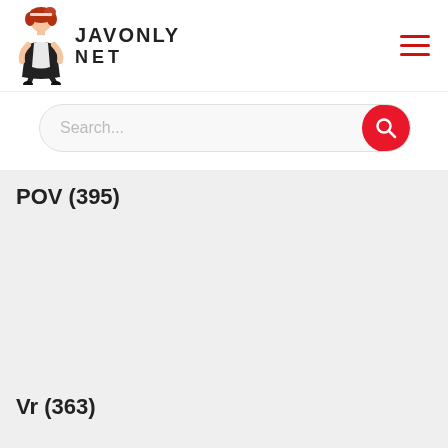JAVONLY NET
Search...
POV (395)
Vr (363)